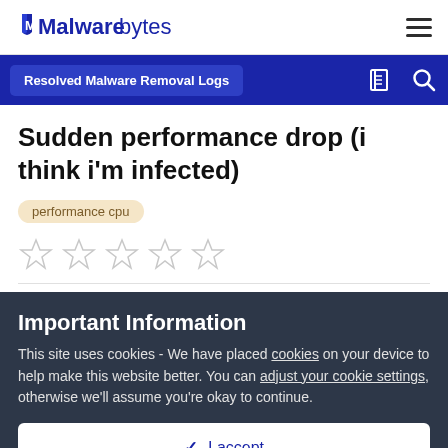Malwarebytes
Resolved Malware Removal Logs
Sudden performance drop (i think i'm infected)
performance cpu
[Figure (other): Five empty star rating icons]
Important Information
This site uses cookies - We have placed cookies on your device to help make this website better. You can adjust your cookie settings, otherwise we'll assume you're okay to continue.
✓  I accept